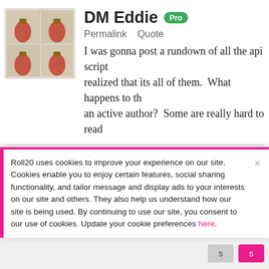DM Eddie Pro
Permalink   Quote
I was gonna post a rundown of all the api script realized that its all of them.  What happens to th an active author?  Some are really hard to read
Wint
Permalink   Quote
Encountered this bug repeatedly. Load into the the VTT hangs on loading. Work around I've fo
Roll20 uses cookies to improve your experience on our site. Cookies enable you to enjoy certain features, social sharing functionality, and tailor message and display ads to your interests on our site and others. They also help us understand how our site is being used. By continuing to use our site, you consent to our use of cookies. Update your cookie preferences here.